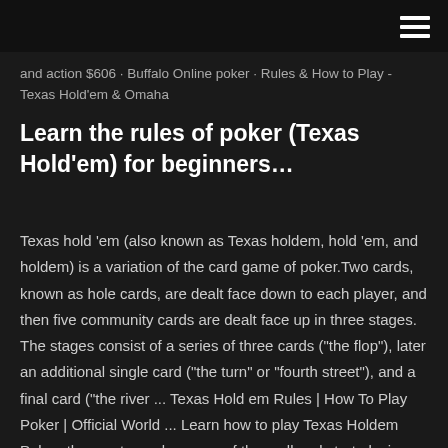and action $606 · Buffalo Online poker · Rules & How to Play - Texas Hold'em & Omaha
Learn the rules of poker (Texas Hold'em) for beginners…
Texas hold 'em (also known as Texas holdem, hold 'em, and holdem) is a variation of the card game of poker.Two cards, known as hole cards, are dealt face down to each player, and then five community cards are dealt face up in three stages. The stages consist of a series of three cards ("the flop"), later an additional single card ("the turn" or "fourth street"), and a final card ("the river ... Texas Hold em Rules | How To Play Poker | Official World ... Learn how to play Texas Holdem Poker, the most popular game of them all and start playing online today! Read about buying